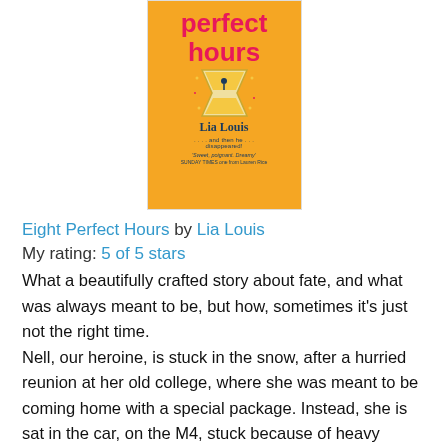[Figure (illustration): Book cover of 'Eight Perfect Hours' by Lia Louis. Orange background with pink bold text reading 'perfect hours', an hourglass illustration with a figure, author name 'Lia Louis' in dark navy, tagline '...and then he disappeared!' and a quote from Sunday Times.]
Eight Perfect Hours by Lia Louis
My rating: 5 of 5 stars
What a beautifully crafted story about fate, and what was always meant to be, but how, sometimes it's just not the right time.
Nell, our heroine, is stuck in the snow, after a hurried reunion at her old college, where she was meant to be coming home with a special package. Instead, she is sat in the car, on the M4, stuck because of heavy snowfall, with a letter, memories, extreme emotions and a mobile with a